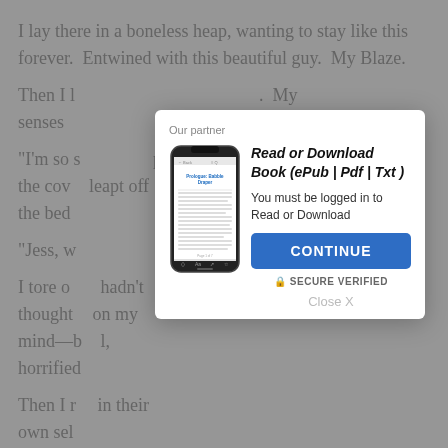I lay there in a boneless heap, wanting to stay like this forever.  Entwined with this beautiful guy.  My Blaze.
Then I l[...]  My senses
"I'm so s[...] pulled the cov[...] leapt off the bed
"Jess, w[...]
I tore o[...] hadn't thought[...] on my mind—b[...] horrified
Then I r[...] in their own sel[...]
They had no idea.  But Blaze knew. And I knew.
How will I ever look him in the eye again?
[Figure (screenshot): Modal dialog with phone mockup showing an ebook reading app. Title: Read or Download Book (ePub | Pdf | Txt). Subtitle: You must be logged in to Read or Download. Blue CONTINUE button. SECURE VERIFIED label. Close X link. Partner label at top.]